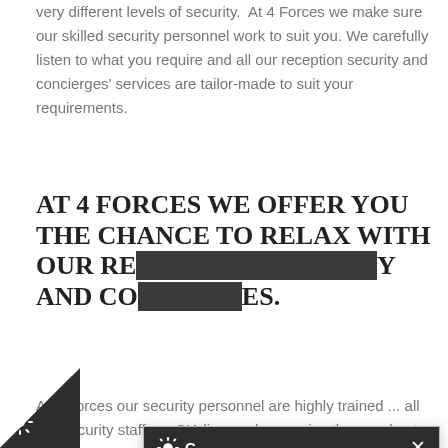very different levels of security. At 4 Forces we make sure our skilled security personnel work to suit you. We carefully listen to what you require and all our reception security and concierges' services are tailor-made to suit your requirements.
AT 4 FORCES WE OFFER YOU THE CHANCE TO RELAX WITH OUR RECEPTION SECURITY AND CONCIERGE SERVICES.
At 4 Forces our security personnel are highly trained ... all our security staff are SIA licensed ... receive the very best services ... and concierges. With our front ... your existing systems ... security. We acknowledge the need ... to welcome your customers and staff, whilst always remaining aware and
[Figure (screenshot): Cookie consent popup with dark header containing gear icon and X close button, message about cookies, 'I'm fine with this' button, and links to Information and Settings and Cookie policy]